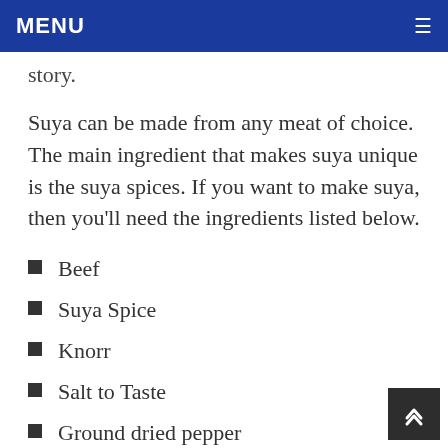MENU
story.
Suya can be made from any meat of choice. The main ingredient that makes suya unique is the suya spices. If you want to make suya, then you'll need the ingredients listed below.
Beef
Suya Spice
Knorr
Salt to Taste
Ground dried pepper
Vegetable oil (100ml)
Griller